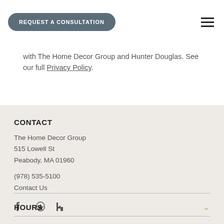REQUEST A CONSULTATION
with The Home Decor Group and Hunter Douglas. See our full Privacy Policy.
CONTACT
The Home Decor Group
515 Lowell St
Peabody, MA 01960
(978) 535-5100
Contact Us
[Figure (illustration): Social media icons: Facebook, Yelp, Houzz]
HOURS